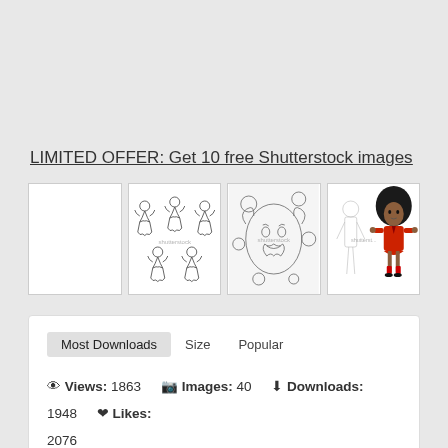LIMITED OFFER: Get 10 free Shutterstock images
[Figure (illustration): Thumbnail 1: blank white rectangle with border]
[Figure (illustration): Thumbnail 2: line drawing of 5 ballerina girls in tutus, shutterstock watermark]
[Figure (illustration): Thumbnail 3: line drawing of woman's face with floral and butterfly design, shutterstock watermark]
[Figure (illustration): Thumbnail 4: sketch of doll-like figure outline and colorful cartoon girl in red outfit with black hair, shutterstock watermark]
| Most Downloads | Size | Popular |
| Views: 1863 | Images: 40 | Downloads: 1948 | Likes: 2076 |